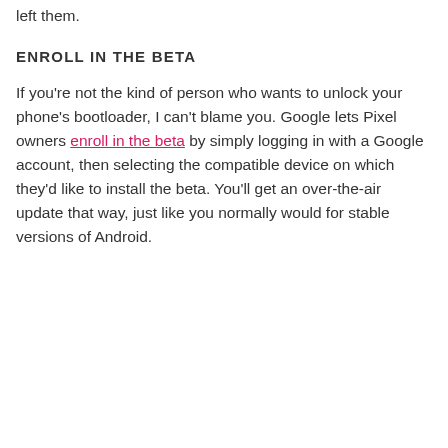left them.
ENROLL IN THE BETA
If you're not the kind of person who wants to unlock your phone's bootloader, I can't blame you. Google lets Pixel owners enroll in the beta by simply logging in with a Google account, then selecting the compatible device on which they'd like to install the beta. You'll get an over-the-air update that way, just like you normally would for stable versions of Android.